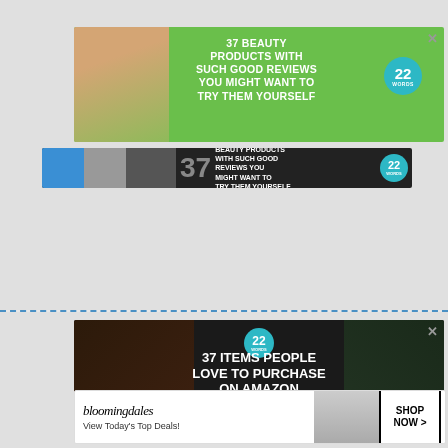[Figure (infographic): Green beauty ad: '37 BEAUTY PRODUCTS WITH SUCH GOOD REVIEWS YOU MIGHT WANT TO TRY THEM YOURSELF' with woman's face on left and '22 WORDS' teal badge on right]
[Figure (infographic): Dark banner ad showing beauty product thumbnails, large '37' number, text 'BEAUTY PRODUCTS WITH SUCH GOOD REVIEWS YOU MIGHT WANT TO TRY THEM YOURSELF' and '22 WORDS' badge]
[Figure (infographic): Dark Amazon ad: '37 ITEMS PEOPLE LOVE TO PURCHASE ON AMAZON' with '22 WORDS' teal badge, knives/food background image, and CLOSE button]
[Figure (infographic): Bloomingdales ad: logo in italic serif font, 'View Today's Top Deals!' text, woman in hat photo, and 'SHOP NOW >' button]